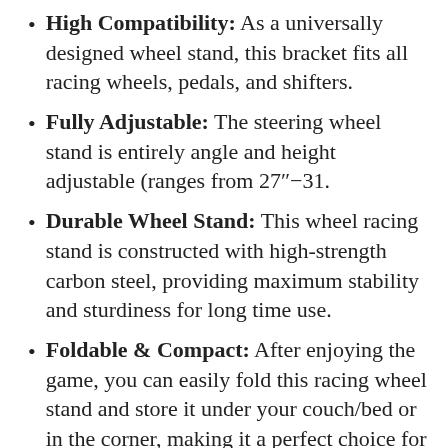High Compatibility: As a universally designed wheel stand, this bracket fits all racing wheels, pedals, and shifters.
Fully Adjustable: The steering wheel stand is entirely angle and height adjustable (ranges from 27″−31.
Durable Wheel Stand: This wheel racing stand is constructed with high-strength carbon steel, providing maximum stability and sturdiness for long time use.
Foldable & Compact: After enjoying the game, you can easily fold this racing wheel stand and store it under your couch/bed or in the corner, making it a perfect choice for players with limited storage space.